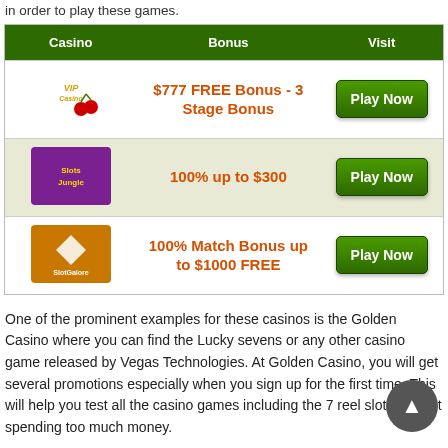in order to play these games.
| Casino | Bonus | Visit |
| --- | --- | --- |
| [VIP Casino logo] | $777 FREE Bonus - 3 Stage Bonus | Play Now |
| [Slots Jungle logo] | 100% up to $300 | Play Now |
| [Slots Galore logo] | 100% Match Bonus up to $1000 FREE | Play Now |
One of the prominent examples for these casinos is the Golden Casino where you can find the Lucky sevens or any other casino game released by Vegas Technologies. At Golden Casino, you will get several promotions especially when you sign up for the first time. This will help you test all the casino games including the 7 reel slots without spending too much money.